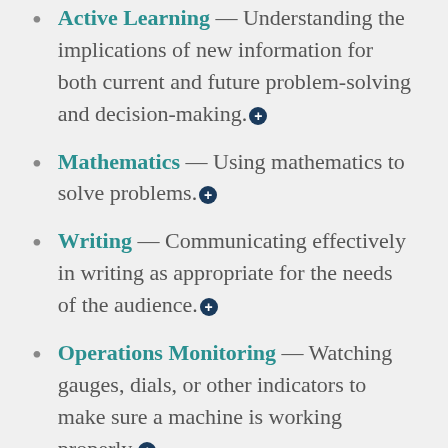Active Learning — Understanding the implications of new information for both current and future problem-solving and decision-making.
Mathematics — Using mathematics to solve problems.
Writing — Communicating effectively in writing as appropriate for the needs of the audience.
Operations Monitoring — Watching gauges, dials, or other indicators to make sure a machine is working properly.